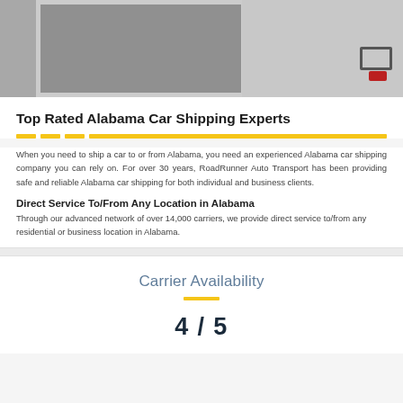[Figure (photo): Partial photo of a car rear end being transported, showing asphalt road surface on the left side with a white border frame, and a car rear bumper with red tail light on the right side.]
Top Rated Alabama Car Shipping Experts
When you need to ship a car to or from Alabama, you need an experienced Alabama car shipping company you can rely on. For over 30 years, RoadRunner Auto Transport has been providing safe and reliable Alabama car shipping for both individual and business clients.
Direct Service To/From Any Location in Alabama
Through our advanced network of over 14,000 carriers, we provide direct service to/from any residential or business location in Alabama.
Carrier Availability
4 / 5